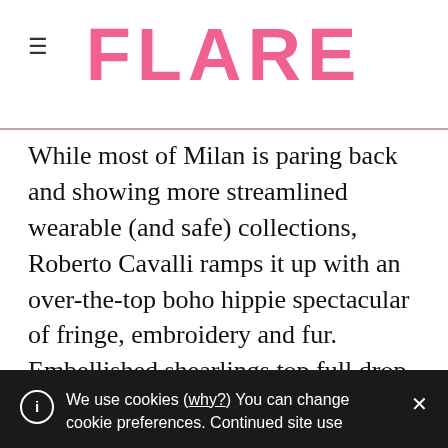≡  FLARE
While most of Milan is paring back and showing more streamlined wearable (and safe) collections, Roberto Cavalli ramps it up with an over-the-top boho hippie spectacular of fringe, embroidery and fur. Embellished shearlings top full drop crotch trousers while fur jackets are paired with flowing goddess dresses. Fur bags and fox fur tail accessories turn up the volume. The collection feels dated but is saved by its soft
We use cookies (why?) You can change cookie preferences. Continued site use